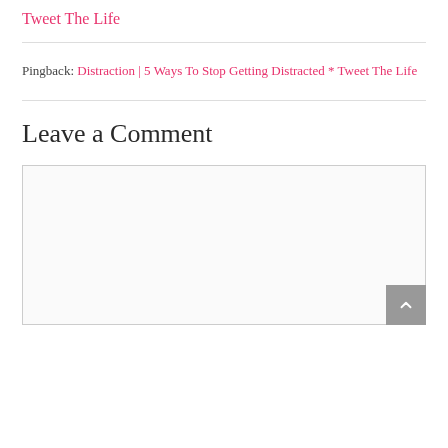Tweet The Life
Pingback: Distraction | 5 Ways To Stop Getting Distracted * Tweet The Life
Leave a Comment